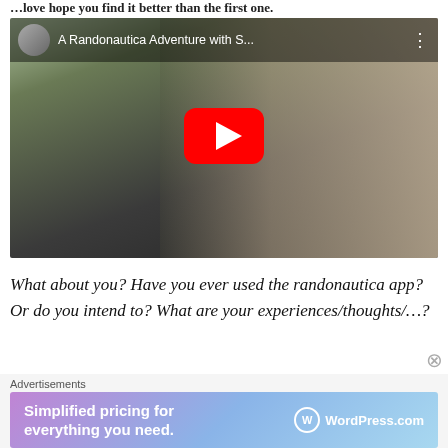…love hope you find it better than the first one.
[Figure (screenshot): YouTube video thumbnail showing a woman smiling in a car, with a play button overlay. Video title bar shows channel avatar, 'A Randonautica Adventure with S...' and three-dot menu.]
What about you? Have you ever used the randonautica app? Or do you intend to? What are your experiences/thoughts/…?
Advertisements
[Figure (screenshot): WordPress.com advertisement banner: 'Simplified pricing for everything you need.' with WordPress.com logo on gradient purple-blue background.]